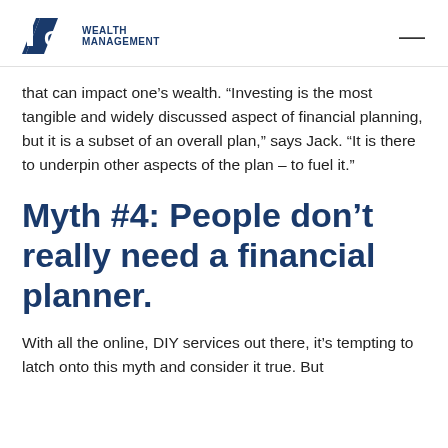IG WEALTH MANAGEMENT
that can impact one’s wealth. “Investing is the most tangible and widely discussed aspect of financial planning, but it is a subset of an overall plan,” says Jack. “It is there to underpin other aspects of the plan – to fuel it.”
Myth #4: People don’t really need a financial planner.
With all the online, DIY services out there, it’s tempting to latch onto this myth and consider it true. But